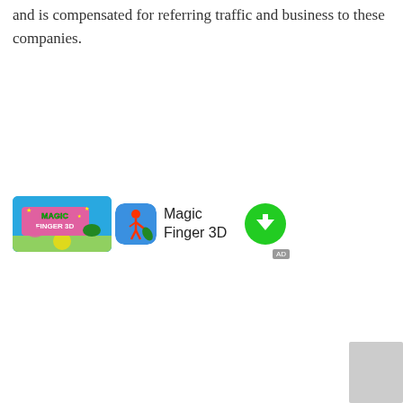and is compensated for referring traffic and business to these companies.
[Figure (screenshot): Advertisement for Magic Finger 3D app showing banner image, app icon, app name 'Magic Finger 3D', and a green download button with an AD badge.]